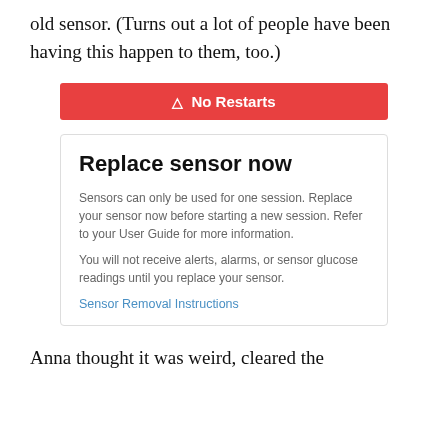old sensor. (Turns out a lot of people have been having this happen to them, too.)
[Figure (screenshot): Red alert bar labeled 'No Restarts' with a warning triangle icon, followed by a device screen showing 'Replace sensor now' heading and body text: 'Sensors can only be used for one session. Replace your sensor now before starting a new session. Refer to your User Guide for more information.' and 'You will not receive alerts, alarms, or sensor glucose readings until you replace your sensor.' with a 'Sensor Removal Instructions' link.]
Anna thought it was weird, cleared the